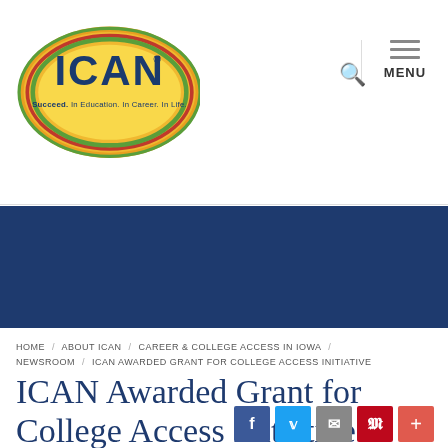[Figure (logo): ICAN logo — oval shape with yellow/orange/green/red rings, text 'ICAN' in dark blue, tagline 'Succeed. In Education. In Career. In Life.']
MENU
[Figure (other): Dark navy blue banner/hero image strip]
HOME / ABOUT ICAN / CAREER & COLLEGE ACCESS IN IOWA / NEWSROOM / ICAN AWARDED GRANT FOR COLLEGE ACCESS INITIATIVE
ICAN Awarded Grant for College Access Initiative